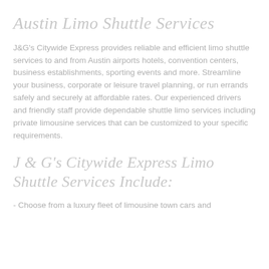Austin Limo Shuttle Services
J&G's Citywide Express provides reliable and efficient limo shuttle services to and from Austin airports hotels, convention centers, business establishments, sporting events and more. Streamline your business, corporate or leisure travel planning, or run errands safely and securely at affordable rates. Our experienced drivers and friendly staff provide dependable shuttle limo services including private limousine services that can be customized to your specific requirements.
J & G's Citywide Express Limo Shuttle Services Include:
- Choose from a luxury fleet of limousine town cars and